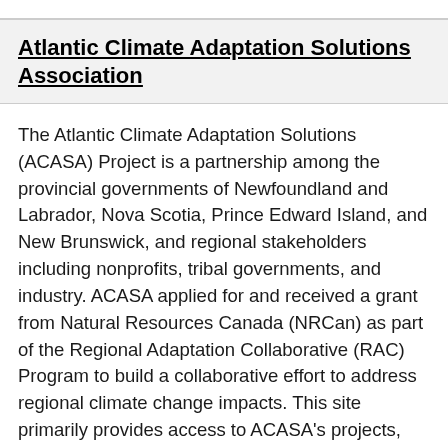Atlantic Climate Adaptation Solutions Association
The Atlantic Climate Adaptation Solutions (ACASA) Project is a partnership among the provincial governments of Newfoundland and Labrador, Nova Scotia, Prince Edward Island, and New Brunswick, and regional stakeholders including nonprofits, tribal governments, and industry. ACASA applied for and received a grant from Natural Resources Canada (NRCan) as part of the Regional Adaptation Collaborative (RAC) Program to build a collaborative effort to address regional climate change impacts. This site primarily provides access to ACASA's projects, publications, and other research outputs that help Atlantic Canadians better prepare for, and adapt to, climate change.